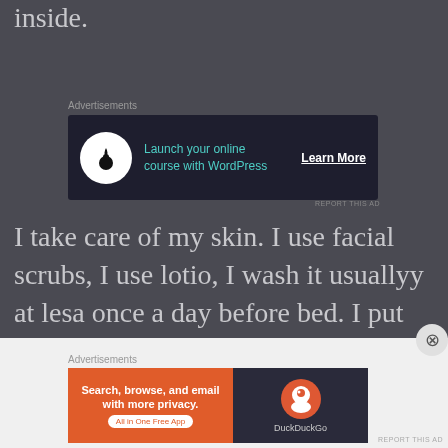inside.
[Figure (screenshot): Advertisement banner: Launch your online course with WordPress - Learn More button]
I take care of my skin. I use facial scrubs, I use lotio, I wash it usuallyy at lesa once a day before bed. I put on chapstick. It all take a few mintues tops.
[Figure (screenshot): Advertisement banner: DuckDuckGo - Search, browse, and email with more privacy. All in One Free App]